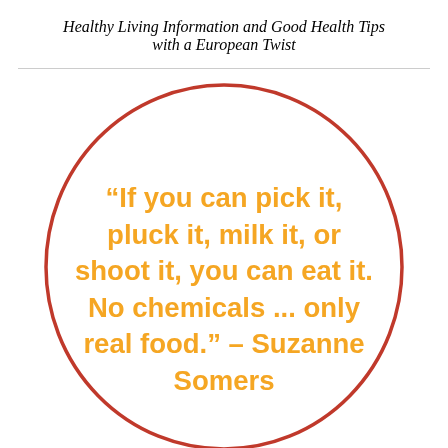Healthy Living Information and Good Health Tips
with a European Twist
[Figure (illustration): A large circle with a dark red/crimson border outline containing an orange bold quote text]
“If you can pick it, pluck it, milk it, or shoot it, you can eat it. No chemicals ... only real food.” – Suzanne Somers